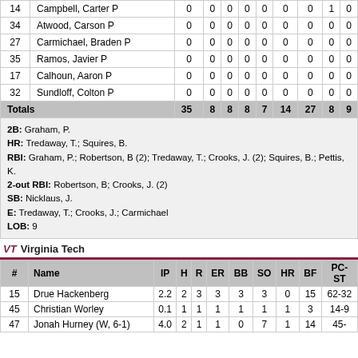| # | Name | IP | H | R | ER | BB | SO | HR | BF | PC-ST |
| --- | --- | --- | --- | --- | --- | --- | --- | --- | --- | --- |
| 14 | Campbell, Carter P | 0 | 0 | 0 | 0 | 0 | 0 | 0 | 1 | 0 |
| 34 | Atwood, Carson P | 0 | 0 | 0 | 0 | 0 | 0 | 0 | 0 | 0 |
| 27 | Carmichael, Braden P | 0 | 0 | 0 | 0 | 0 | 0 | 0 | 0 | 0 |
| 35 | Ramos, Javier P | 0 | 0 | 0 | 0 | 0 | 0 | 0 | 0 | 0 |
| 17 | Calhoun, Aaron P | 0 | 0 | 0 | 0 | 0 | 0 | 0 | 0 | 0 |
| 32 | Sundloff, Colton P | 0 | 0 | 0 | 0 | 0 | 0 | 0 | 0 | 0 |
| Totals |  | 35 | 8 | 8 | 8 | 7 | 14 | 27 | 8 | 9 |
2B: Graham, P.
HR: Tredaway, T.; Squires, B.
RBI: Graham, P.; Robertson, B (2); Tredaway, T.; Crooks, J. (2); Squires, B.; Pettis, K.
2-out RBI: Robertson, B; Crooks, J. (2)
SB: Nicklaus, J.
E: Tredaway, T.; Crooks, J.; Carmichael
LOB: 9
Virginia Tech
| # | Name | IP | H | R | ER | BB | SO | HR | BF | PC-ST |
| --- | --- | --- | --- | --- | --- | --- | --- | --- | --- | --- |
| 15 | Drue Hackenberg | 2.2 | 2 | 3 | 3 | 3 | 3 | 0 | 15 | 62-32 |
| 45 | Christian Worley | 0.1 | 1 | 1 | 1 | 1 | 1 | 1 | 3 | 14-9 |
| 47 | Jonah Hurney (W, 6-1) | 4.0 | 2 | 1 | 1 | 0 | 7 | 1 | 14 | 45- |